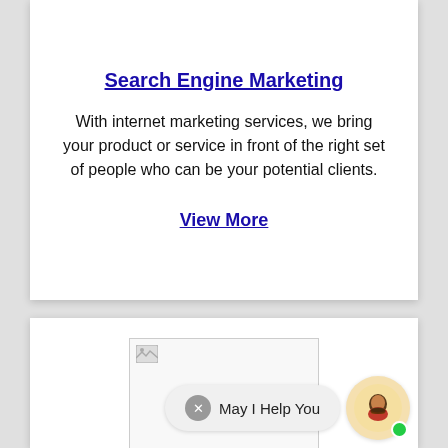Search Engine Marketing
With internet marketing services, we bring your product or service in front of the right set of people who can be your potential clients.
View More
[Figure (illustration): Broken image placeholder in a white card section at the bottom of the page, with a chat widget overlay showing 'May I Help You' and an avatar with a green online indicator.]